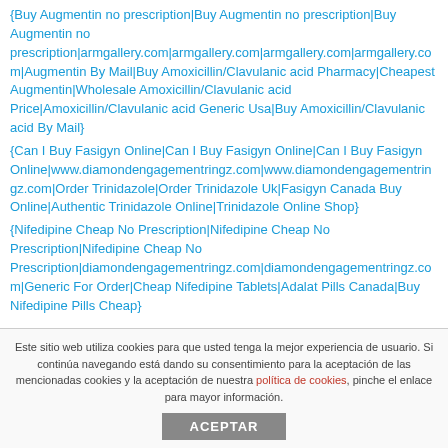{Buy Augmentin no prescription|Buy Augmentin no prescription|Buy Augmentin no prescription|armgallery.com|armgallery.com|armgallery.com|armgallery.com|Augmentin By Mail|Buy Amoxicillin/Clavulanic acid Pharmacy|Cheapest Augmentin|Wholesale Amoxicillin/Clavulanic acid Price|Amoxicillin/Clavulanic acid Generic Usa|Buy Amoxicillin/Clavulanic acid By Mail}
{Can I Buy Fasigyn Online|Can I Buy Fasigyn Online|Can I Buy Fasigyn Online|www.diamondengagementringz.com|www.diamondengagementringz.com|Order Trinidazole|Order Trinidazole Uk|Fasigyn Canada Buy Online|Authentic Trinidazole Online|Trinidazole Online Shop}
{Nifedipine Cheap No Prescription|Nifedipine Cheap No Prescription|Nifedipine Cheap No Prescription|diamondengagementringz.com|diamondengagementringz.com|Generic For Order|Cheap Nifedipine Tablets|Adalat Pills Canada|Buy Nifedipine Pills Cheap}
Este sitio web utiliza cookies para que usted tenga la mejor experiencia de usuario. Si continúa navegando está dando su consentimiento para la aceptación de las mencionadas cookies y la aceptación de nuestra política de cookies, pinche el enlace para mayor información.